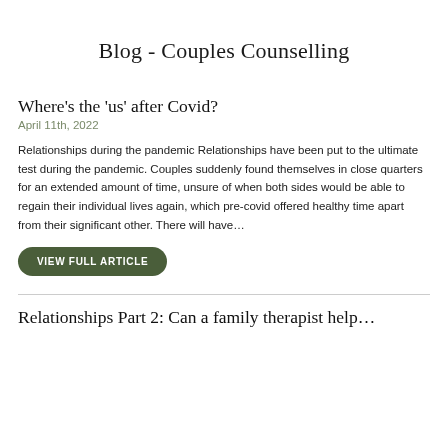Blog - Couples Counselling
Where's the 'us' after Covid?
April 11th, 2022
Relationships during the pandemic Relationships have been put to the ultimate test during the pandemic. Couples suddenly found themselves in close quarters for an extended amount of time, unsure of when both sides would be able to regain their individual lives again, which pre-covid offered healthy time apart from their significant other. There will have…
VIEW FULL ARTICLE
Relationships Part 2: Can a family therapist help…